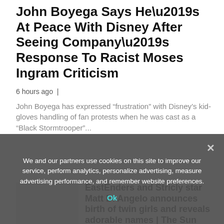John Boyega Says He’s At Peace With Disney After Seeing Company’s Response To Racist Moses Ingram Criticism
6 hours ago |
John Boyega has expressed “frustration” with Disney’s kid-gloves handling of fan protests when he was cast as a “Black Stormtrooper”...
EastEnders and Stricly star Matt Di Angelo announces birth of twin girls and reveals adorable names | The Sun
12 hours ago |
I’m a MasterChef producer – there’s a secret behind the contestants’ cooking...
48 hours ago |
We and our partners use cookies on this site to improve our service, perform analytics, personalize advertising, measure advertising performance, and remember website preferences.
Ok